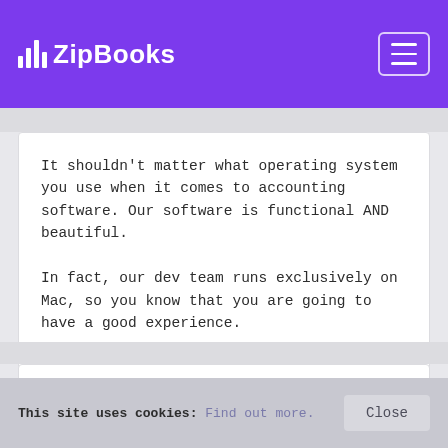ZipBooks
It shouldn't matter what operating system you use when it comes to accounting software. Our software is functional AND beautiful.

In fact, our dev team runs exclusively on Mac, so you know that you are going to have a good experience.
QuickBooks for Mac >
Need QuickBooks for your Business?
This site uses cookies: Find out more.